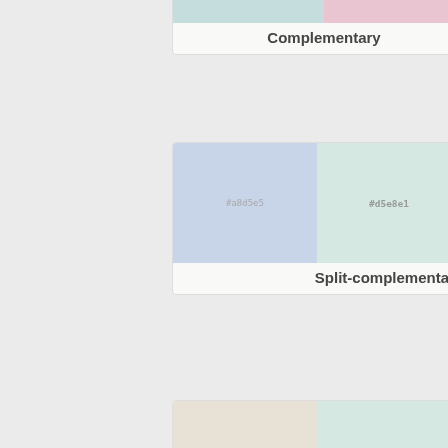[Figure (infographic): Complementary color card partially visible at top, showing teal and pink swatches]
Complementary
[Figure (infographic): Split-complementary color card with three swatches: #a8d5e5 (lavender), #d5e8e1 (mint), #e8d8d5 (blush)]
Split-complementary
[Figure (infographic): Triadic color card with three swatches: #e8e1d5 (beige), #d5e8e1 (mint), #e1d5e8 (lavender)]
Triadic
[Figure (infographic): Clash color card with three swatches: #e5e8d5 (light green-gray), #d5e8e1 (mint), #d8d5e8 (light purple)]
Clash
[Figure (infographic): Bottom color card partially visible with four swatches: #e8e1d5 (beige), #d5e8e1 (mint), #d5dce8 (light blue), #e8d5d1 (blush pink)]